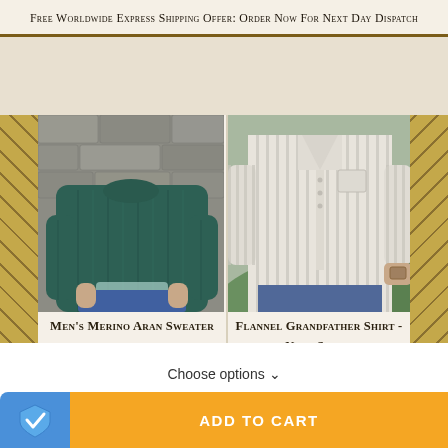Free Worldwide Express Shipping Offer: Order Now For Next Day Dispatch
[Figure (photo): Man wearing a dark teal/green Men's Merino Aran knit sweater against a stone wall background]
Men's Merino Aran Sweater
$119.95  $54.95
[Figure (photo): Man wearing a light grey/cream striped Flannel Grandfather Shirt with outdoor background]
Flannel Grandfather Shirt - Navy Stripe
$69.95
Choose options ∨
ADD TO CART